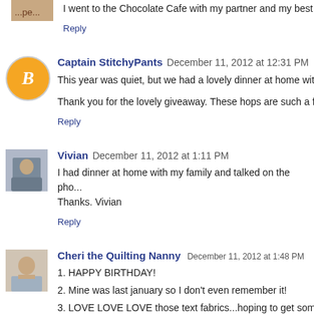I went to the Chocolate Cafe with my partner and my best fr...
Reply
Captain StitchyPants  December 11, 2012 at 12:31 PM
This year was quiet, but we had a lovely dinner at home with...
Thank you for the lovely giveaway. These hops are such a fu...
Reply
Vivian  December 11, 2012 at 1:11 PM
I had dinner at home with my family and talked on the pho... Thanks. Vivian
Reply
Cheri the Quilting Nanny  December 11, 2012 at 1:48 PM
1. HAPPY BIRTHDAY!
2. Mine was last january so I don't even remember it!
3. LOVE LOVE LOVE those text fabrics...hoping to get some... cover some composition books for her for HER birthday in A...